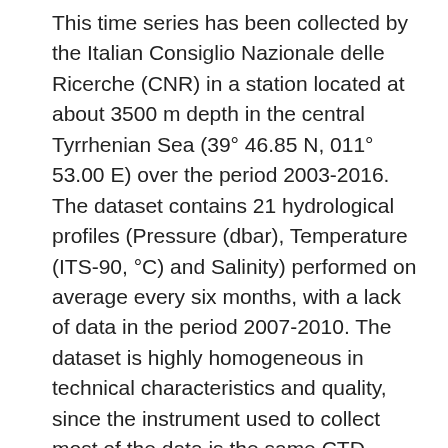This time series has been collected by the Italian Consiglio Nazionale delle Ricerche (CNR) in a station located at about 3500 m depth in the central Tyrrhenian Sea (39° 46.85 N, 011° 53.00 E) over the period 2003-2016. The dataset contains 21 hydrological profiles (Pressure (dbar), Temperature (ITS-90, °C) and Salinity) performed on average every six months, with a lack of data in the period 2007-2010. The dataset is highly homogeneous in technical characteristics and quality, since the instrument used to collect most of the data is the same CTD probe (SBE911plus) and data quality procedures have been performed. The calibration of the probe was performed at the NATO-CMRE Centre of La Spezia up to 2014, and by the manufacturer (SeaBird) or by the Oceanographic Calibration Center of OGS in Trieste thereafter. To verify the post calibration